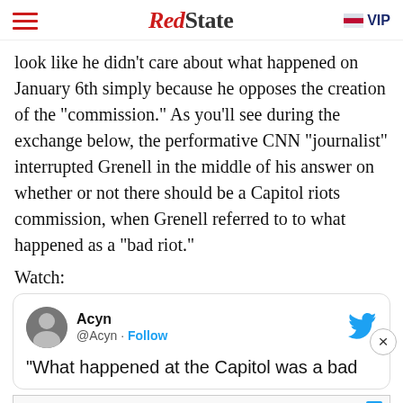RedState VIP
look like he didn’t care about what happened on January 6th simply because he opposes the creation of the “commission.” As you’ll see during the exchange below, the performative CNN “journalist” interrupted Grenell in the middle of his answer on whether or not there should be a Capitol riots commission, when Grenell referred to to what happened as a “bad riot.”
Watch:
[Figure (screenshot): Embedded tweet from @Acyn with Twitter bird logo, avatar, Follow button, and partial tweet text: “What happened at the Capitol was a bad]
[Figure (screenshot): Advertisement banner: HELP PROTECT US AGAINST BIG TECH CENSORSHIP]